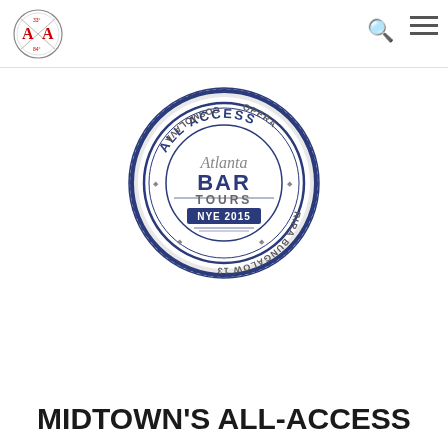Atlanta Apartments logo header with search and menu icons
[Figure (logo): Atlanta Bar Tours NYE 2015 All Access badge/seal logo. A circular badge in blue with scalloped edges. Center reads 'Atlanta BAR TOURS NYE 2015' in blue and grey text. Outer ring text reads 'ALL ACCESS' at top, 'COSMOLAVA' on left, 'OPERA' on right, 'BUNGALOW 13' at bottom, 'RIRA' on lower right, with diamond bullet separators.]
MIDTOWN'S ALL-ACCESS